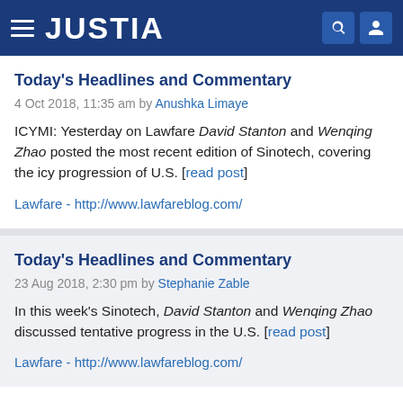JUSTIA
Today's Headlines and Commentary
4 Oct 2018, 11:35 am by Anushka Limaye
ICYMI: Yesterday on Lawfare David Stanton and Wenqing Zhao posted the most recent edition of Sinotech, covering the icy progression of U.S. [read post]
Lawfare - http://www.lawfareblog.com/
Today's Headlines and Commentary
23 Aug 2018, 2:30 pm by Stephanie Zable
In this week's Sinotech, David Stanton and Wenqing Zhao discussed tentative progress in the U.S. [read post]
Lawfare - http://www.lawfareblog.com/